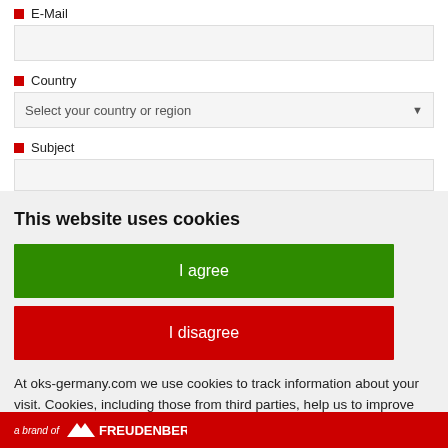E-Mail
Country
Select your country or region
Subject
This website uses cookies
I agree
I disagree
At oks-germany.com we use cookies to track information about your visit. Cookies, including those from third parties, help us to improve our website and make you tailor-made offers to suit your
a brand of FREUDENBERG